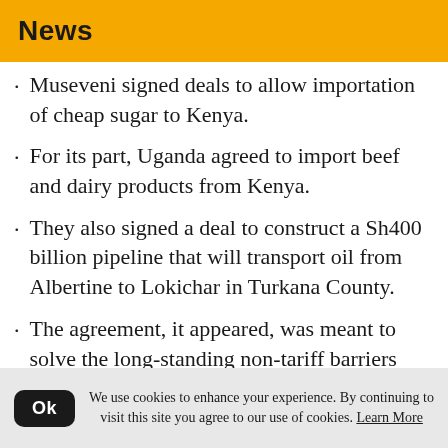News
Museveni signed deals to allow importation of cheap sugar to Kenya.
For its part, Uganda agreed to import beef and dairy products from Kenya.
They also signed a deal to construct a Sh400 billion pipeline that will transport oil from Albertine to Lokichar in Turkana County.
The agreement, it appeared, was meant to solve the long-standing non-tariff barriers that have impeded export of beef and
We use cookies to enhance your experience. By continuing to visit this site you agree to our use of cookies. Learn More